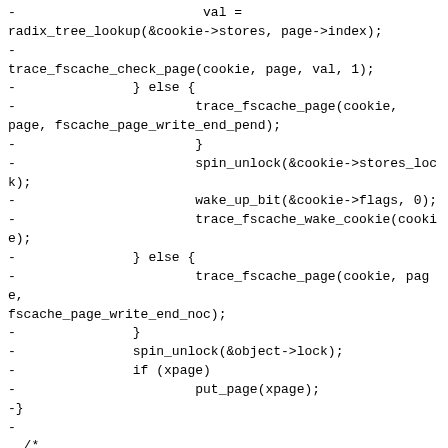-				val =
radix_tree_lookup(&cookie->stores, page->index);
-
trace_fscache_check_page(cookie, page, val, 1);
-			} else {
-					trace_fscache_page(cookie,
page, fscache_page_write_end_pend);
-				}
-				spin_unlock(&cookie->stores_lock);
-				wake_up_bit(&cookie->flags, 0);
-				trace_fscache_wake_cookie(cookie);
-			} else {
-				trace_fscache_page(cookie, page,
fscache_page_write_end_noc);
-			}
-			spin_unlock(&object->lock);
-			if (xpage)
-				put_page(xpage);
-}
-
 /*
  * actually apply the changed attributes to a cache object
  */
@@ -265,76 +97,6 @@ int __fscache_attr_changed(struct fscache_cookie *cookie)
 }
 EXPORT_SYMBOL(__fscache_attr_changed);

-/*